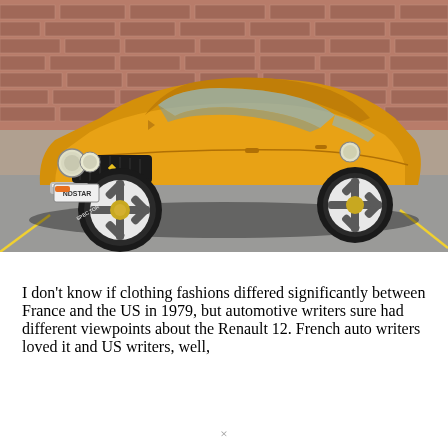[Figure (photo): A golden/yellow Renault 12 sedan photographed from the front-left angle in a parking lot, with a brick wall in the background. The car has a distinctive mustard-yellow paint, round headlights, a black grille, and aftermarket alloy wheels with white-letter tires. A license plate reading 'NDSTAR' is visible on the front bumper.]
I don't know if clothing fashions differed significantly between France and the US in 1979, but automotive writers sure had different viewpoints about the Renault 12. French auto writers loved it and US writers, well,